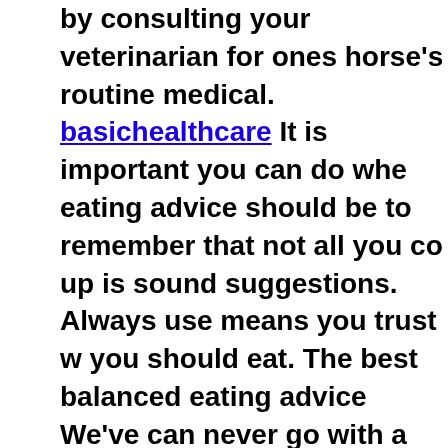by consulting your veterinarian for ones horse's routine medical. basichealthcare It is important you can do whe eating advice should be to remember that not all you co up is sound suggestions. Always use means you trust w you should eat. The best balanced eating advice We've can never go with a diet and tend to eat more in the goo less saturated extra fat and salt. healthylivingadvice A w of nutrition have been discovered that can be improving insurance and changing many individual's lives. Called leading Doctors and Scientists worldwide are describin important health discovery in the last 100 several years nutrient is 100% Pure, Scientifically Tested and Non-Tox been providing men and women from all guides of life w benefits. healthdiscovery There are many of governmen health care. These might be both civilian along with mili nature. Here I will cover the most famous type of govern in UK along with US that employ medical professionals. Wellbeing promotion aims to enrich the health of individ recognition in environmental components, education, a promotion is a a way for you to positively guide your ps environmental, neurological, and physical health of me communities. Health promotion normally include behav and health know-how. By being educated for this topic, the prevention of disease and increase their quality lifes behavior alterations. Through education along with prev may possibly reduce financial fees for themselves, but